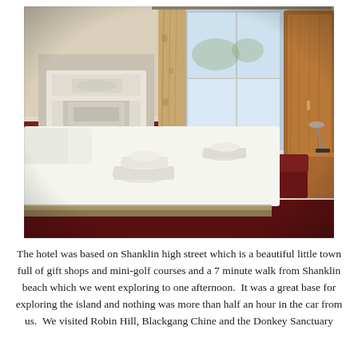[Figure (photo): Interior photo of a hotel room showing a single bed with white bedding and folded towels on top, a white ornamental fireplace surround on the left wall painted red below dado level, a tall wooden wardrobe/armoire on the right, a large window with cream floral curtains letting in natural light, a wooden desk with a lamp in the far right corner, and dark red/burgundy carpet.]
The hotel was based on Shanklin high street which is a beautiful little town full of gift shops and mini-golf courses and a 7 minute walk from Shanklin beach which we went exploring to one afternoon.  It was a great base for exploring the island and nothing was more than half an hour in the car from us.  We visited Robin Hill, Blackgang Chine and the Donkey Sanctuary